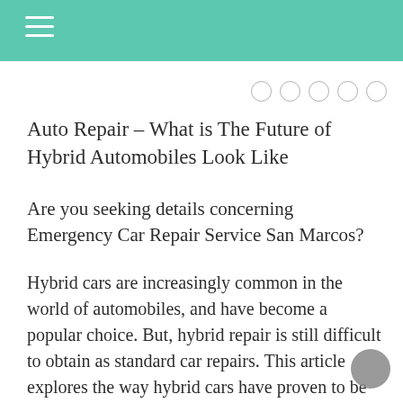Auto Repair – What is The Future of Hybrid Automobiles Look Like
Are you seeking details concerning Emergency Car Repair Service San Marcos?
Hybrid cars are increasingly common in the world of automobiles, and have become a popular choice. But, hybrid repair is still difficult to obtain as standard car repairs. This article explores the way hybrid cars have proven to be an enormous improvement for